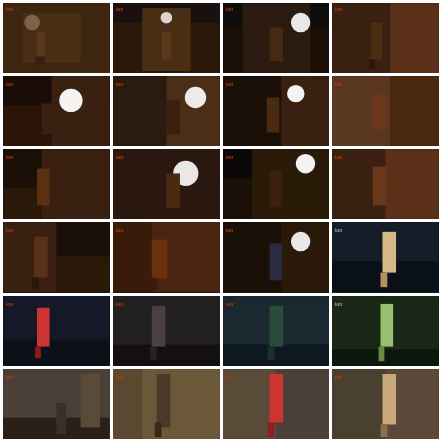[Figure (photo): Grid of 24 trail running photographs showing runners in various night and day scenes, including urban streets with headlamps, mountain trails, and rocky terrain. Images are arranged in a 4-column by 6-row grid layout.]